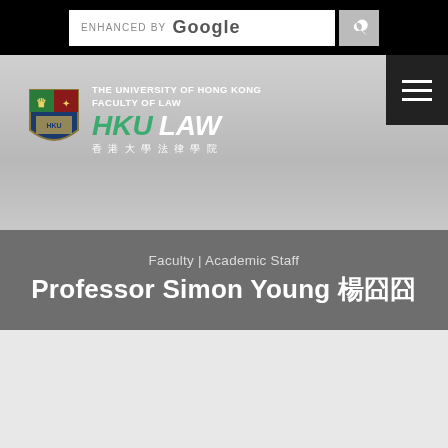[Figure (screenshot): Google search bar with 'ENHANCED BY Google' text and search icon button on black background]
[Figure (logo): HKU LAW logo — University of Hong Kong Faculty of Law shield and text logo with Chinese characters 香港大學法律學院]
[Figure (infographic): Hamburger menu icon (three white horizontal lines on dark background)]
Faculty | Academic Staff
Professor Simon Young 楊
[Figure (photo): Portrait photo of Professor Simon Young, a man wearing glasses, seated in front of a bookshelf with legal volumes]